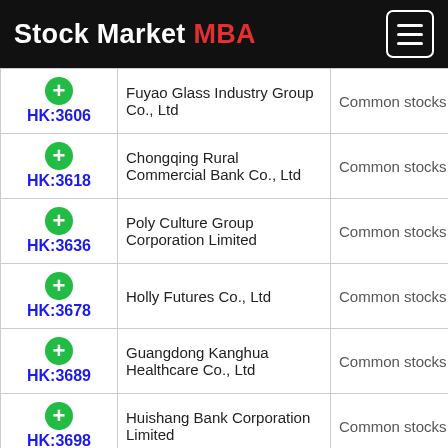Stock Market MBA
| Ticker | Name | Type |  |
| --- | --- | --- | --- |
| HK:3606 | Fuyao Glass Industry Group Co., Ltd | Common stocks |  |
| HK:3618 | Chongqing Rural Commercial Bank Co., Ltd | Common stocks |  |
| HK:3636 | Poly Culture Group Corporation Limited | Common stocks |  |
| HK:3678 | Holly Futures Co., Ltd | Common stocks |  |
| HK:3689 | Guangdong Kanghua Healthcare Co., Ltd | Common stocks |  |
| HK:3698 | Huishang Bank Corporation Limited | Common stocks |  |
| HK:??? | Pharmaron Beijing | Common |  |